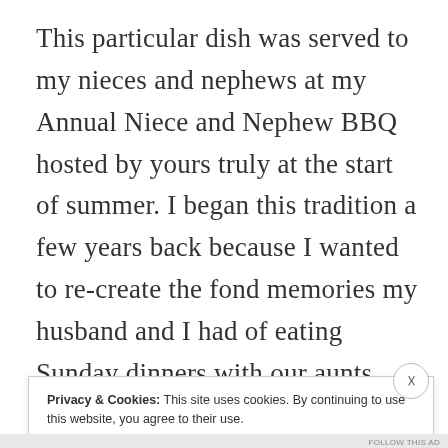This particular dish was served to my nieces and nephews at my Annual Niece and Nephew BBQ hosted by yours truly at the start of summer. I began this tradition a few years back because I wanted to re-create the fond memories my husband and I had of eating Sunday dinners with our aunts and uncles. This family tradition has gotten a bit lost over the years as family members moved further away from each other. Because our
Privacy & Cookies: This site uses cookies. By continuing to use this website, you agree to their use.
To find out more, including how to control cookies, see here: Cookie Policy
Close and accept